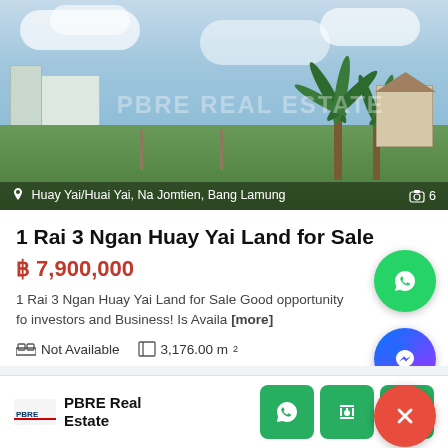[Figure (photo): Vacant land plot with grass, palm trees and cloudy sky. Watermark text 'PBRE REAL ESTATE' visible. Location bar at bottom shows 'Huay Yai/Huai Yai, Na Jomtien, Bang Lamung' with camera icon and count 6.]
1 Rai 3 Ngan Huay Yai Land for Sale
฿ 7,900,000
1 Rai 3 Ngan Huay Yai Land for Sale Good opportunity for investors and Business! Is Availa [more]
Not Available   3,176.00 m²
PBRE Real Estate